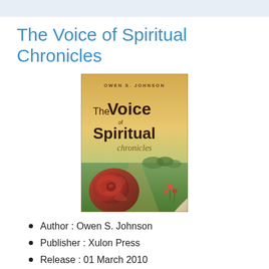The Voice of Spiritual Chronicles
[Figure (illustration): Book cover of 'The Voice of Spiritual Chronicles' by Owen S. Johnson, featuring a red rose in the foreground and a pastoral landscape with golden sky in the background. The title is displayed in large stylized text on the cover.]
Author : Owen S. Johnson
Publisher : Xulon Press
Release : 01 March 2010